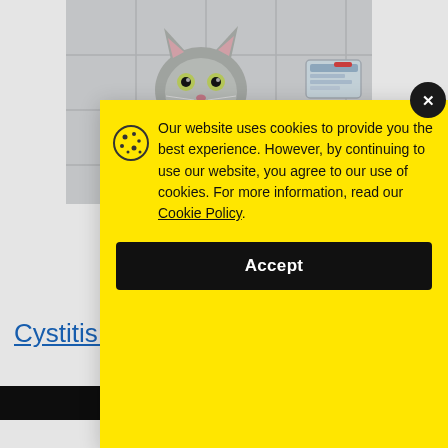[Figure (photo): A small tabby kitten sitting on a white tile surface next to a stethoscope, at a veterinary clinic]
Cystitis i
Cop
[Figure (screenshot): Cookie consent banner overlay with yellow background. Text reads: 'Our website uses cookies to provide you the best experience. However, by continuing to use our website, you agree to our use of cookies. For more information, read our Cookie Policy.' with an Accept button.]
Save Today with BOGO free select Supplements and Vitamins